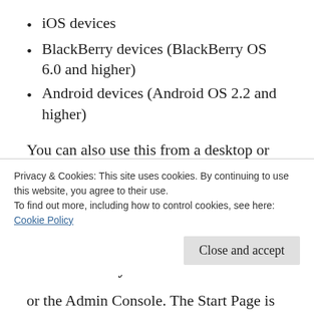iOS devices
BlackBerry devices (BlackBerry OS 6.0 and higher)
Android devices (Android OS 2.2 and higher)
You can also use this from a desktop or laptop by connecting with the Chrome 11 and higher or Safari 5 and higher web browsers.
Customizable Start Page (some Pro-only
Privacy & Cookies: This site uses cookies. By continuing to use this website, you agree to their use.
To find out more, including how to control cookies, see here: Cookie Policy
or the Admin Console. The Start Page is